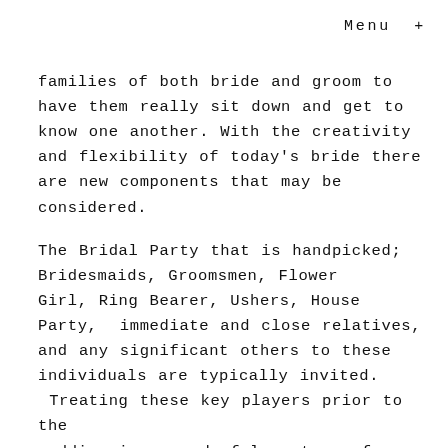Menu +
families of both bride and groom to have them really sit down and get to know one another. With the creativity and flexibility of today's bride there are new components that may be considered.
The Bridal Party that is handpicked; Bridesmaids, Groomsmen, Flower Girl, Ring Bearer, Ushers, House Party, immediate and close relatives, and any significant others to these individuals are typically invited. Treating these key players prior to the wedding is a wonderful gesture of